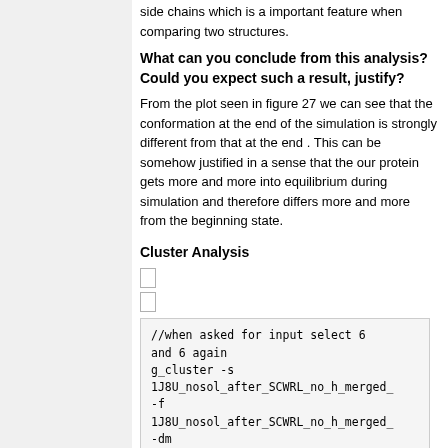side chains which is a important feature when comparing two structures.
What can you conclude from this analysis? Could you expect such a result, justify?
From the plot seen in figure 27 we can see that the conformation at the end of the simulation is strongly different from that at the end . This can be somehow justified in a sense that the our protein gets more and more into equilibrium during simulation and therefore differs more and more from the beginning state.
Cluster Analysis
//when asked for input select 6 and 6 again
g_cluster -s 1J8U_nosol_after_SCWRL_no_h_merged_
-f 1J8U_nosol_after_SCWRL_no_h_merged_
-dm